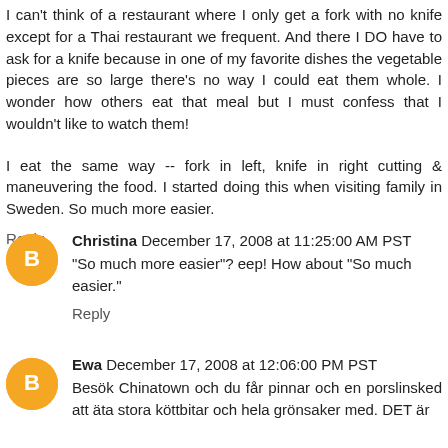I can't think of a restaurant where I only get a fork with no knife except for a Thai restaurant we frequent. And there I DO have to ask for a knife because in one of my favorite dishes the vegetable pieces are so large there's no way I could eat them whole. I wonder how others eat that meal but I must confess that I wouldn't like to watch them!
I eat the same way -- fork in left, knife in right cutting & maneuvering the food. I started doing this when visiting family in Sweden. So much more easier.
Reply
Christina  December 17, 2008 at 11:25:00 AM PST
"So much more easier"? eep! How about "So much easier."
Reply
Ewa  December 17, 2008 at 12:06:00 PM PST
Besök Chinatown och du får pinnar och en porslinsked att äta stora köttbitar och hela grönsaker med. DET är